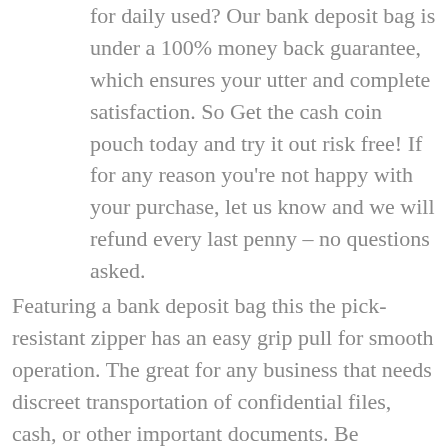for daily used? Our bank deposit bag is under a 100% money back guarantee, which ensures your utter and complete satisfaction. So Get the cash coin pouch today and try it out risk free! If for any reason you're not happy with your purchase, let us know and we will refund every last penny – no questions asked.
Featuring a bank deposit bag this the pick-resistant zipper has an easy grip pull for smooth operation. The great for any business that needs discreet transportation of confidential files, cash, or other important documents. Be organized and safe with this zipper pouch wallet...